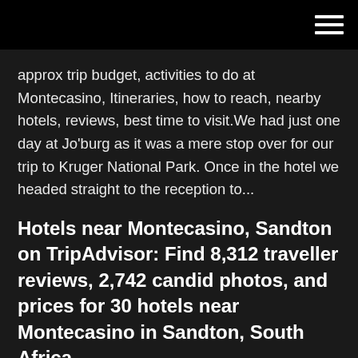approx trip budget, activities to do at Montecasino, Itineraries, how to reach, nearby hotels, reviews, best time to visit.We had just one day at Jo'burg as it was a mere stop over for our trip to Kruger National Park. Once in the hotel we headed straight to the reception to...
Hotels near Montecasino, Sandton on TripAdvisor: Find 8,312 traveller reviews, 2,742 candid photos, and prices for 30 hotels near Montecasino in Sandton, South Africa.
For great family entertainment, come and experience the wonder of the Montecasino Bird Gardens - the only bird park of its kind in Africa and Jo'burg's best kept secret. Here, you